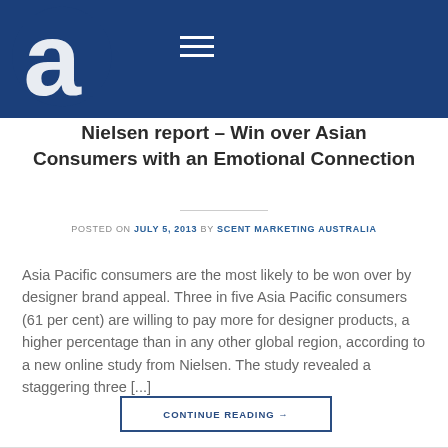Nielsen report – Win over Asian Consumers with an Emotional Connection
Nielsen report – Win over Asian Consumers with an Emotional Connection
POSTED ON JULY 5, 2013 BY SCENT MARKETING AUSTRALIA
Asia Pacific consumers are the most likely to be won over by designer brand appeal. Three in five Asia Pacific consumers (61 per cent) are willing to pay more for designer products, a higher percentage than in any other global region, according to a new online study from Nielsen. The study revealed a staggering three [...]
CONTINUE READING →